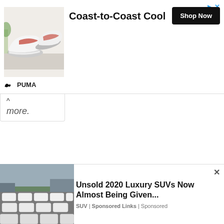[Figure (other): PUMA advertisement banner with sneaker photo, 'Coast-to-Coast Cool' headline, and 'Shop Now' button]
more.
[Figure (other): Advertisement: 'Unsold 2020 Luxury SUVs Now Almost Being Given...' with car lot image, source: SUV | Sponsored Links | Sponsored]